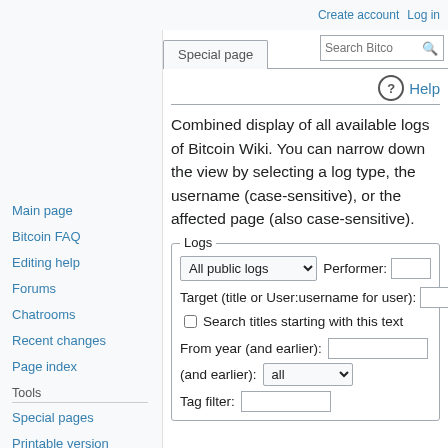Create account  Log in
Main page
Bitcoin FAQ
Editing help
Forums
Chatrooms
Recent changes
Page index
Tools
Special pages
Printable version
Sister projects
Essays
Special page
⓪ Help
Combined display of all available logs of Bitcoin Wiki. You can narrow down the view by selecting a log type, the username (case-sensitive), or the affected page (also case-sensitive).
Logs - All public logs | Performer: | Target (title or User:username for user): | Search titles starting with this text | From year (and earlier): | (and earlier): all | Tag filter: